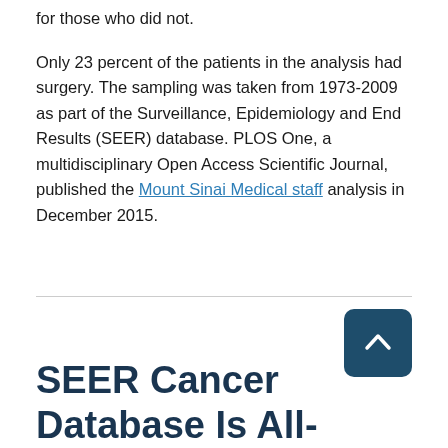for those who did not. Only 23 percent of the patients in the analysis had surgery. The sampling was taken from 1973-2009 as part of the Surveillance, Epidemiology and End Results (SEER) database. PLOS One, a multidisciplinary Open Access Scientific Journal, published the Mount Sinai Medical staff analysis in December 2015.
SEER Cancer Database Is All-Inclusive